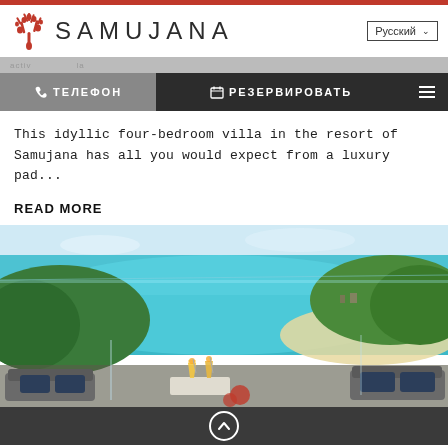SAMUJANA — Русский
This idyllic four-bedroom villa in the resort of Samujana has all you would expect from a luxury pad...
READ MORE
[Figure (photo): Aerial view of a tropical bay with turquoise water, lush green headland, sandy beach, and a villa terrace in the foreground with cocktails and lounge furniture.]
↑ scroll to top button